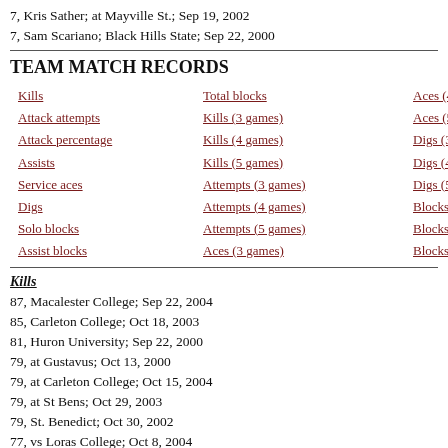7, Kris Sather; at Mayville St.; Sep 19, 2002
7, Sam Scariano; Black Hills State; Sep 22, 2000
TEAM MATCH RECORDS
Kills
Attack attempts
Attack percentage
Assists
Service aces
Digs
Solo blocks
Assist blocks
Total blocks
Kills (3 games)
Kills (4 games)
Kills (5 games)
Attempts (3 games)
Attempts (4 games)
Attempts (5 games)
Aces (3 games)
Aces (4 games)
Aces (5 games)
Digs (3 games)
Digs (4 games)
Digs (5 games)
Blocks (3 games)
Blocks (4 games)
Blocks (5 games)
Kills
87, Macalester College; Sep 22, 2004
85, Carleton College; Oct 18, 2003
81, Huron University; Sep 22, 2000
79, at Gustavus; Oct 13, 2000
79, at Carleton College; Oct 15, 2004
79, at St Bens; Oct 29, 2003
79, St. Benedict; Oct 30, 2002
77, vs Loras College; Oct 8, 2004